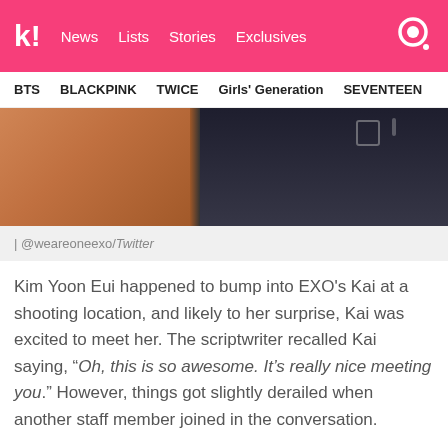k! News Lists Stories Exclusives
BTS  BLACKPINK  TWICE  Girls' Generation  SEVENTEEN
[Figure (photo): Close-up photo split between two people, left side showing warm skin tones and right side showing dark clothing]
| @weareoneexo/Twitter
Kim Yoon Eui happened to bump into EXO's Kai at a shooting location, and likely to her surprise, Kai was excited to meet her. The scriptwriter recalled Kai saying, "Oh, this is so awesome. It's really nice meeting you." However, things got slightly derailed when another staff member joined in the conversation.